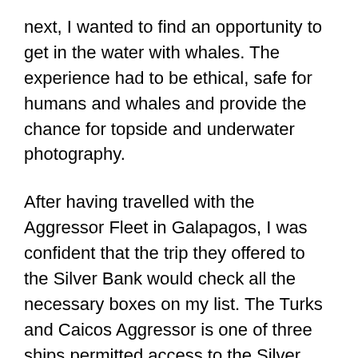next, I wanted to find an opportunity to get in the water with whales.  The experience had to be ethical, safe for humans and whales and provide the chance for topside and underwater photography.
After having travelled with the Aggressor Fleet in Galapagos, I was confident that the trip they offered to the Silver Bank would check all the necessary boxes on my list.  The Turks and Caicos Aggressor is one of three ships permitted access to the Silver Bank during humpback mating and breeding season.
The add bb...